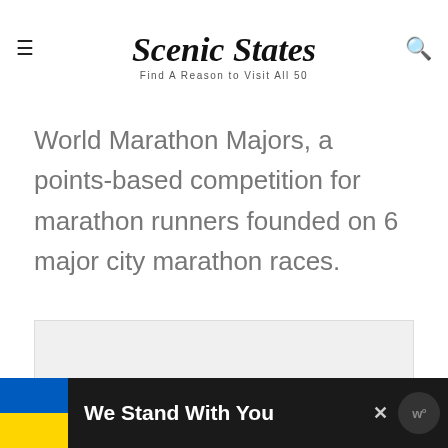Scenic States — Find A Reason to Visit All 50
World Marathon Majors, a points-based competition for marathon runners founded on 6 major city marathon races.
[Figure (other): Advertisement placeholder box with light gray background]
We Stand With You — banner advertisement with Ukrainian flag colors